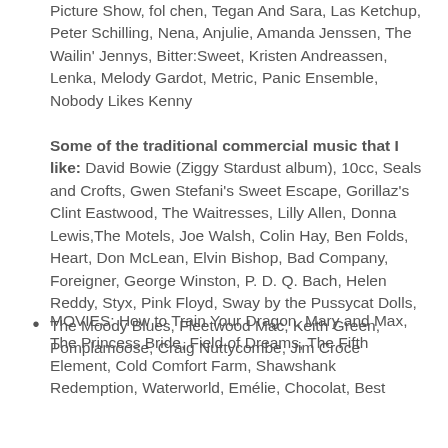Picture Show, fol chen, Tegan And Sara, Las Ketchup, Peter Schilling, Nena, Anjulie, Amanda Jenssen, The Wailin' Jennys, Bitter:Sweet, Kristen Andreassen, Lenka, Melody Gardot, Metric, Panic Ensemble, Nobody Likes Kenny
Some of the traditional commercial music that I like: David Bowie (Ziggy Stardust album), 10cc, Seals and Crofts, Gwen Stefani's Sweet Escape, Gorillaz's Clint Eastwood, The Waitresses, Lilly Allen, Donna Lewis,The Motels, Joe Walsh, Colin Hay, Ben Folds, Heart, Don McLean, Elvin Bishop, Bad Company, Foreigner, George Winston, P. D. Q. Bach, Helen Reddy, Styx, Pink Floyd, Sway by the Pussycat Dolls, The Moody Blues, Fleetwood Mac, Keith Green, Pomplamoose, Craig Nuttycombe, Jim Croce
MOVIES: How to Train Your Dragon, Mary and Max, The Princess Bride, Field of Dreams, The Fifth Element, Cold Comfort Farm, Shawshank Redemption, Waterworld, Emélie, Chocolat, Best